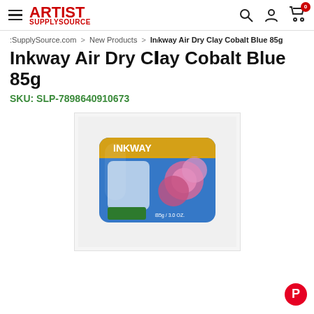ARTIST SUPPLYSOURCE
:SupplySource.com > New Products > Inkway Air Dry Clay Cobalt Blue 85g
Inkway Air Dry Clay Cobalt Blue 85g
SKU: SLP-7898640910673
[Figure (photo): Photo of Inkway Air Dry Clay Cobalt Blue 85g product in blue plastic packaging with gold top label, showing rose decorations on the front.]